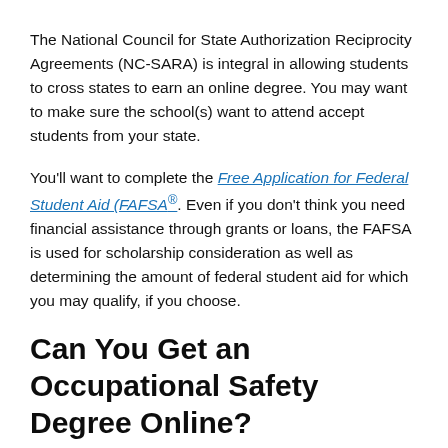The National Council for State Authorization Reciprocity Agreements (NC-SARA) is integral in allowing students to cross states to earn an online degree. You may want to make sure the school(s) want to attend accept students from your state.
You'll want to complete the Free Application for Federal Student Aid (FAFSA®). Even if you don't think you need financial assistance through grants or loans, the FAFSA is used for scholarship consideration as well as determining the amount of federal student aid for which you may qualify, if you choose.
Can You Get an Occupational Safety Degree Online?